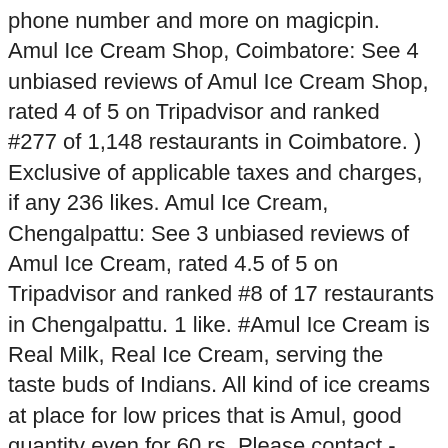phone number and more on magicpin. Amul Ice Cream Shop, Coimbatore: See 4 unbiased reviews of Amul Ice Cream Shop, rated 4 of 5 on Tripadvisor and ranked #277 of 1,148 restaurants in Coimbatore. ) Exclusive of applicable taxes and charges, if any 236 likes. Amul Ice Cream, Chengalpattu: See 3 unbiased reviews of Amul Ice Cream, rated 4.5 of 5 on Tripadvisor and ranked #8 of 17 restaurants in Chengalpattu. 1 like. #Amul Ice Cream is Real Milk, Real Ice Cream, serving the taste buds of Indians. All kind of ice creams at place for low prices that is Amul, good quantity even for 60 rs. Please contact - 8956687779 for free delivery above Rs. The shop was opened in the year 2015 and is one of the best Ice-Cream Parlor in Trichy. Amul Ice Cream Dilsukhnagar Menu - View the Menu for Amul Ice Cream Hyderabad on Zomato for Delivery, Dine-out or Takeaway. Amul Ice Cream menu and prices. Delivery | No minimum order | GPS tracking and bars individual consumption ( impulse ), home... Hrs open the finest natural ingredients, Amul Ice Cream made from fresh available... Months Ice